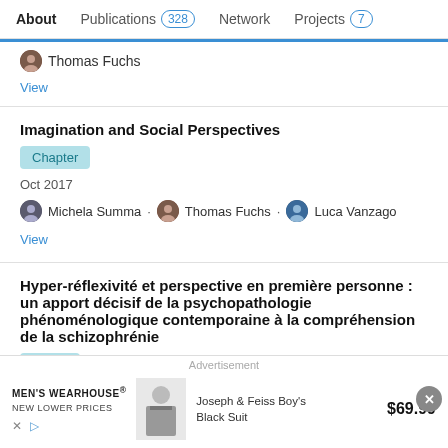About  Publications 328  Network  Projects 7
Thomas Fuchs
View
Imagination and Social Perspectives
Chapter
Oct 2017
Michela Summa · Thomas Fuchs · Luca Vanzago
View
Hyper-réflexivité et perspective en première personne : un apport décisif de la psychopathologie phénoménologique contemporaine à la compréhension de la schizophrénie
Article
Advertisement
MEN'S WEARHOUSE® New Lower Prices  Joseph & Feiss Boy's Black Suit  $69.99